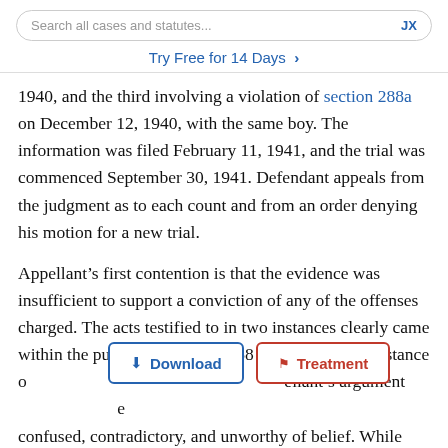Search all cases and statutes...   JX
Try Free for 14 Days >
1940, and the third involving a violation of section 288a on December 12, 1940, with the same boy. The information was filed February 11, 1941, and the trial was commenced September 30, 1941. Defendant appeals from the judgment as to each count and from an order denying his motion for a new trial.
Appellant’s first contention is that the evidence was insufficient to support a conviction of any of the offenses charged. The acts testified to in two instances clearly came within the purview of section 288 and in the other instance of [section 288 of the Penal Code. Appellant’s argument] [is of course] e confused, contradictory, and unworthy of belief. While